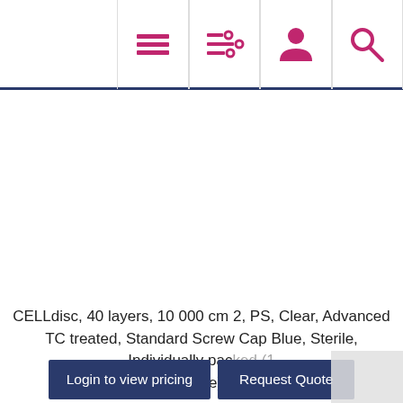Navigation bar with menu, filter, person, and search icons
[Figure (other): Product image area (blank/white) for CELLdisc product]
CELLdisc, 40 layers, 10 000 cm 2, PS, Clear, Advanced TC treated, Standard Screw Cap Blue, Sterile, Individually packed (1 piece)
Login to view pricing   Request Quote